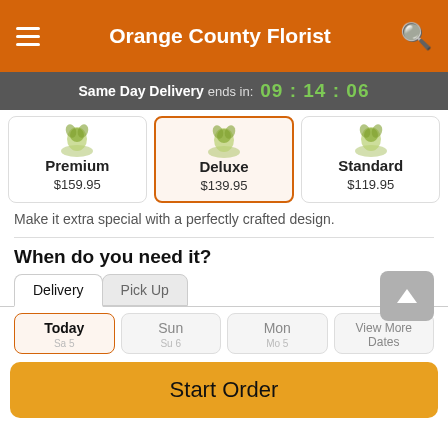Orange County Florist
Same Day Delivery ends in: 09:14:06
[Figure (screenshot): Three product option cards: Premium $159.95, Deluxe $139.95 (selected/highlighted), Standard $119.95, each with a floral arrangement image at top]
Make it extra special with a perfectly crafted design.
When do you need it?
Delivery | Pick Up tabs
Today | Sun | Mon | View More Dates
Start Order